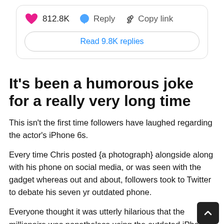[Figure (screenshot): Social media interaction bar showing heart icon with 812.8K likes, reply button, copy link button, and a 'Read 9.8K replies' button in a rounded rectangle container]
It's been a humorous joke for a really very long time
This isn't the first time followers have laughed regarding the actor's iPhone 6s.
Every time Chris posted {a photograph} alongside along with his phone on social media, or was seen with the gadget whereas out and about, followers took to Twitter to debate his seven yr outdated phone.
Everyone thought it was utterly hilarious that the millionaire was nonetheless using the outdated iPhone, nevertheless followers have been in mutual settlement that the actor